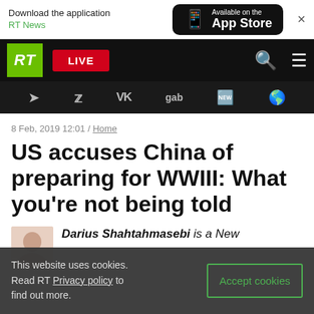Download the application RT News | Available on the App Store
[Figure (screenshot): RT News website navigation bar with RT logo, LIVE button, search and menu icons, and social media icons (Telegram, Twitter, VK, gab, Rumble, other)]
8 Feb, 2019 12:01 / Home
US accuses China of preparing for WWIII: What you’re not being told
Darius Shahtahmasebi is a New
This website uses cookies. Read RT Privacy policy to find out more. | Accept cookies